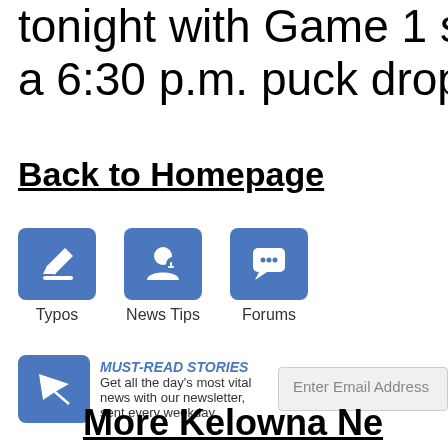tonight with Game 1 sch a 6:30 p.m. puck drop.
Back to Homepage
[Figure (infographic): Three blue icon buttons: Typos (pencil icon), News Tips (person with phone icon), Forums (speech bubble icon)]
[Figure (infographic): Newsletter signup bar with blue envelope icon, MUST-READ STORIES heading, description text, and Enter Email Address input field]
More Kelowna Ne